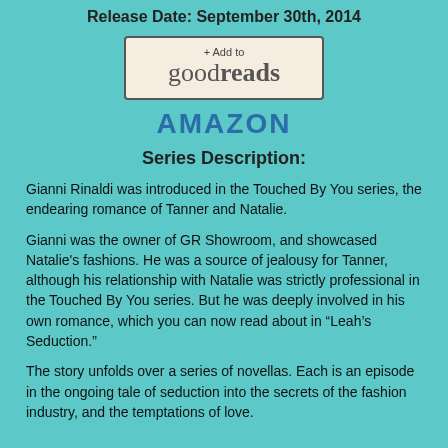Release Date:  September 30th, 2014
[Figure (logo): + Add to goodreads button/badge]
AMAZON
Series Description:
Gianni Rinaldi was introduced in the Touched By You series, the endearing romance of Tanner and Natalie.
Gianni was the owner of GR Showroom, and showcased Natalie's fashions. He was a source of jealousy for Tanner, although his relationship with Natalie was strictly professional in the Touched By You series. But he was deeply involved in his own romance, which you can now read about in “Leah’s Seduction.”
The story unfolds over a series of novellas. Each is an episode in the ongoing tale of seduction into the secrets of the fashion industry, and the temptations of love.